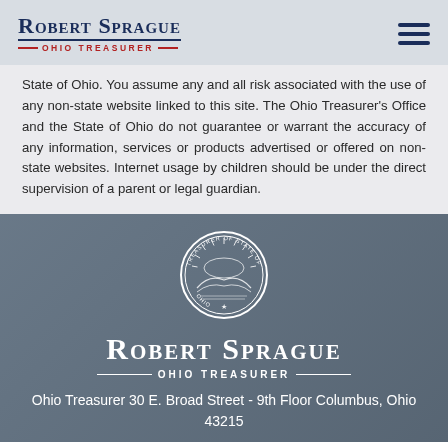Robert Sprague Ohio Treasurer
State of Ohio. You assume any and all risk associated with the use of any non-state website linked to this site. The Ohio Treasurer's Office and the State of Ohio do not guarantee or warrant the accuracy of any information, services or products advertised or offered on non-state websites. Internet usage by children should be under the direct supervision of a parent or legal guardian.
[Figure (logo): Ohio Treasurer seal/emblem circle logo in white]
Robert Sprague Ohio Treasurer
Ohio Treasurer 30 E. Broad Street - 9th Floor Columbus, Ohio 43215